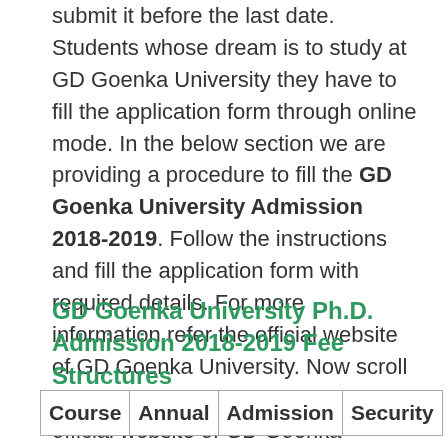submit it before the last date. Students whose dream is to study at GD Goenka University they have to fill the application form through online mode. In the below section we are providing a procedure to fill the GD Goenka University Admission 2018-2019. Follow the instructions and fill the application form with required details. For more information refer the official website of GD Goenka University. Now scroll down and read more details. The official website of GD Goenka University is www.gdgoenkauniversity.com.
GD Goenka University Ph.D. Admission 2018-2019 Fee Structures
| Course | Annual | Admission | Security |
| --- | --- | --- | --- |